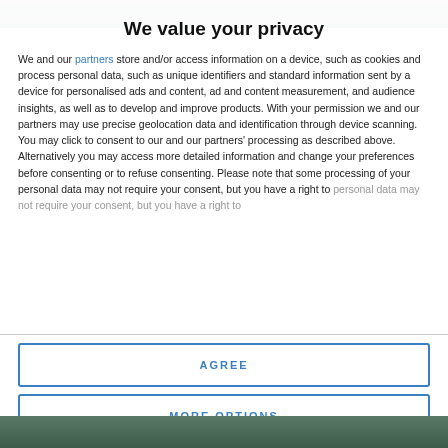[Figure (photo): Top portion of a background photo visible above the modal dialog]
We value your privacy
We and our partners store and/or access information on a device, such as cookies and process personal data, such as unique identifiers and standard information sent by a device for personalised ads and content, ad and content measurement, and audience insights, as well as to develop and improve products. With your permission we and our partners may use precise geolocation data and identification through device scanning. You may click to consent to our and our partners' processing as described above. Alternatively you may access more detailed information and change your preferences before consenting or to refuse consenting. Please note that some processing of your personal data may not require your consent, but you have a right to
AGREE
MORE OPTIONS
[Figure (photo): Bottom portion of a background photo visible below the modal dialog]